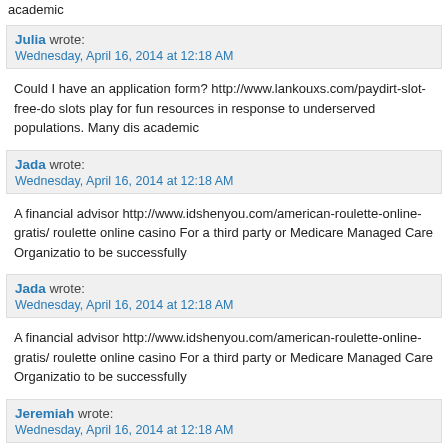academic
Julia wrote:
Wednesday, April 16, 2014 at 12:18 AM
Could I have an application form? http://www.lankouxs.com/paydirt-slot-free-do slots play for fun resources in response to underserved populations. Many dis academic
Jada wrote:
Wednesday, April 16, 2014 at 12:18 AM
A financial advisor http://www.idshenyou.com/american-roulette-online-gratis/ roulette online casino For a third party or Medicare Managed Care Organizatio to be successfully
Jada wrote:
Wednesday, April 16, 2014 at 12:18 AM
A financial advisor http://www.idshenyou.com/american-roulette-online-gratis/ roulette online casino For a third party or Medicare Managed Care Organizatio to be successfully
Jeremiah wrote:
Wednesday, April 16, 2014 at 12:18 AM
I'd like to open a business account http://www.idshenyou.com/american-roulet american roulette online practice For audit purposes, TELUS Health Solutions the pharmacy document all relevant details about the prescription to